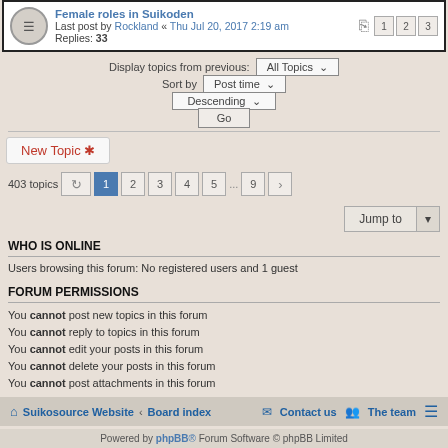Last post by Rockland « Thu Jul 20, 2017 2:19 am
Replies: 33
Display topics from previous: All Topics
Sort by Post time
Descending
Go
New Topic ✱
403 topics  1 2 3 4 5 ... 9 ›
Jump to
WHO IS ONLINE
Users browsing this forum: No registered users and 1 guest
FORUM PERMISSIONS
You cannot post new topics in this forum
You cannot reply to topics in this forum
You cannot edit your posts in this forum
You cannot delete your posts in this forum
You cannot post attachments in this forum
Suikosource Website · Board index   Contact us  The team  ≡
Powered by phpBB® Forum Software © phpBB Limited